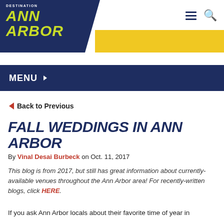[Figure (logo): Destination Ann Arbor logo — navy blue angled block with yellow-green 'ANN ARBOR' italic text and 'DESTINATION' above in white]
MENU ▾
◀ Back to Previous
FALL WEDDINGS IN ANN ARBOR
By Vinal Desai Burbeck on Oct. 11, 2017
This blog is from 2017, but still has great information about currently-available venues throughout the Ann Arbor area! For recently-written blogs, click HERE.
If you ask Ann Arbor locals about their favorite time of year in